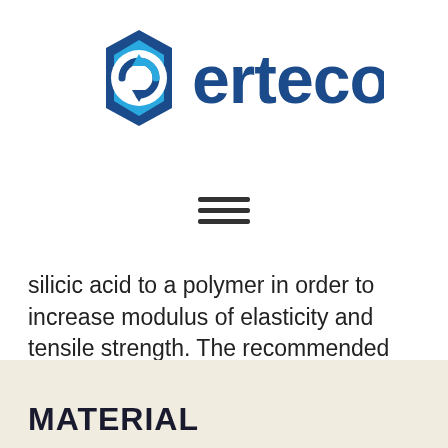[Figure (logo): Erteco company logo with hexagonal icon in blue and a circular arrow, and 'erteco' text in dark blue]
[Figure (other): Hamburger menu icon with three horizontal lines]
silicic acid to a polymer in order to increase modulus of elasticity and tensile strength. The recommended dosage is about 10%   in relation to the light-colored filler.
MATERIAL